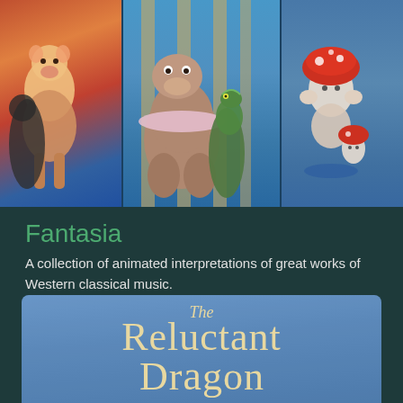[Figure (illustration): Fantasia animated movie collage showing three panels: left panel with animated characters on orange/red background, center panel with hippo and alligator dancing characters on blue background with columns, right panel with mushroom characters on blue background]
Fantasia
A collection of animated interpretations of great works of Western classical music.
[Figure (illustration): The Reluctant Dragon movie title card on blue background showing stylized text 'The Reluctant Dragon' in cream/beige serif font]